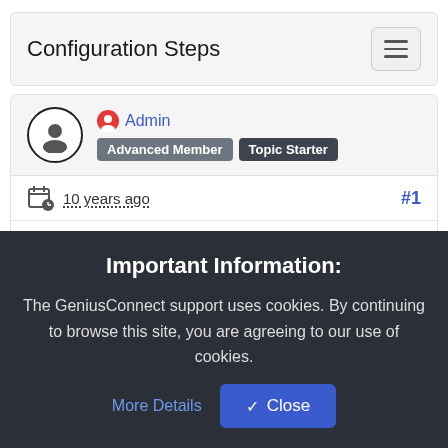Configuration Steps
Admin
Advanced Member  Topic Starter
10 years ago  #1
Mandatory steps:
Important Information:
The GeniusConnect support uses cookies. By continuing to browse this site, you are agreeing to our use of cookies.
More Details
Close